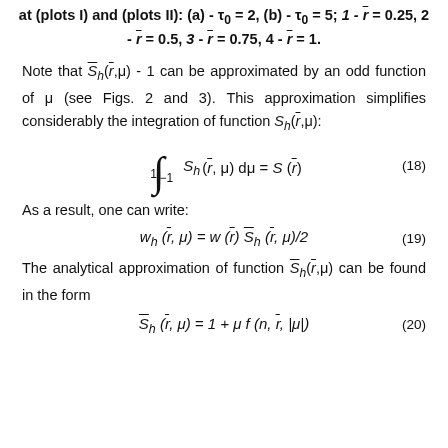at (plots I) and (plots II): (a) - τ₀ = 2, (b) - τ₀ = 5; 1 - r̄ = 0.25, 2 - r̄ = 0.5, 3 - r̄ = 0.75, 4 - r̄ = 1.
Note that S̄_h(r̄,μ) - 1 can be approximated by an odd function of μ (see Figs. 2 and 3). This approximation simplifies considerably the integration of function S_h(r̄,μ):
As a result, one can write:
The analytical approximation of function S̄_h(r̄,μ) can be found in the form